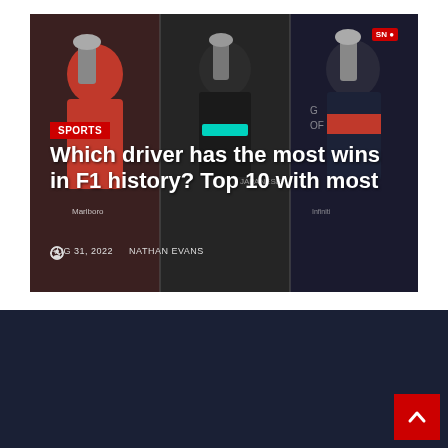[Figure (photo): Collage of three F1 racing drivers celebrating on the podium with trophies, overlaid with article headline text, sports badge, date and author metadata]
Which driver has the most wins in F1 history? Top 10 with most
AUG 31, 2022   NATHAN EVANS
[Figure (logo): Manatee Herald logo with bar chart icon motif, text in dark red and gray-blue on dark navy background]